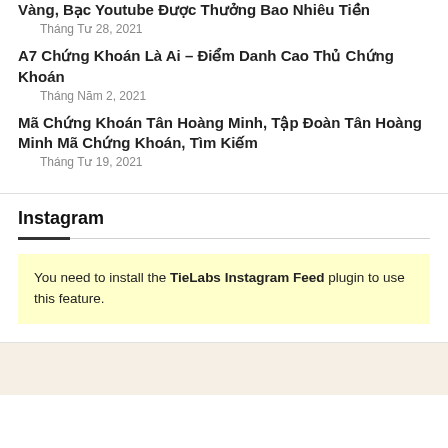Vàng, Bạc Youtube Được Thưởng Bao Nhiêu Tiền
Tháng Tư 28, 2021
A7 Chứng Khoán Là Ai – Điểm Danh Cao Thủ Chứng Khoán
Tháng Năm 2, 2021
Mã Chứng Khoán Tân Hoàng Minh, Tập Đoàn Tân Hoàng Minh Mã Chứng Khoán, Tìm Kiếm
Tháng Tư 19, 2021
Instagram
You need to install the TieLabs Instagram Feed plugin to use this feature.